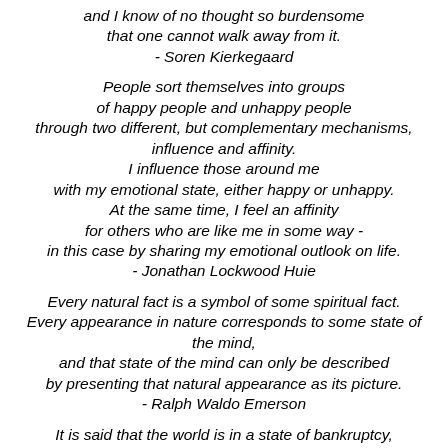and I know of no thought so burdensome that one cannot walk away from it. - Soren Kierkegaard
People sort themselves into groups of happy people and unhappy people through two different, but complementary mechanisms, influence and affinity. I influence those around me with my emotional state, either happy or unhappy. At the same time, I feel an affinity for others who are like me in some way - in this case by sharing my emotional outlook on life. - Jonathan Lockwood Huie
Every natural fact is a symbol of some spiritual fact. Every appearance in nature corresponds to some state of the mind, and that state of the mind can only be described by presenting that natural appearance as its picture. - Ralph Waldo Emerson
It is said that the world is in a state of bankruptcy, that the world owes the world more than the world can pay. - Ralph Waldo Emerson